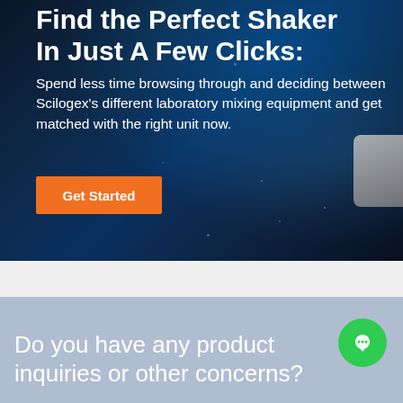[Figure (screenshot): Dark blue cosmic/starfield background with laboratory shaker equipment visible at right edge]
Find the Perfect Shaker In Just A Few Clicks:
Spend less time browsing through and deciding between Scilogex's different laboratory mixing equipment and get matched with the right unit now.
Get Started
Do you have any product inquiries or other concerns?